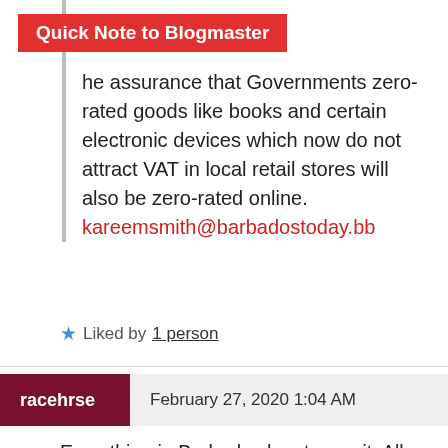Quick Note to Blogmaster
he assurance that Governments zero-rated goods like books and certain electronic devices which now do not attract VAT in local retail stores will also be zero-rated online. kareemsmith@barbadostoday.bb
★ Liked by 1 person
racehrse  February 27, 2020 1:04 AM
Everything in Barbados has tax on it. All the the banks that are left charge an annual fee. The country keeps adding charges to import fees which are to high already. These fees come from the